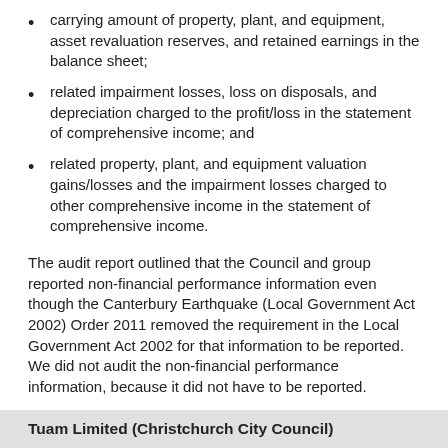carrying amount of property, plant, and equipment, asset revaluation reserves, and retained earnings in the balance sheet;
related impairment losses, loss on disposals, and depreciation charged to the profit/loss in the statement of comprehensive income; and
related property, plant, and equipment valuation gains/losses and the impairment losses charged to other comprehensive income in the statement of comprehensive income.
The audit report outlined that the Council and group reported non-financial performance information even though the Canterbury Earthquake (Local Government Act 2002) Order 2011 removed the requirement in the Local Government Act 2002 for that information to be reported. We did not audit the non-financial performance information, because it did not have to be reported.
Tuam Limited (Christchurch City Council)